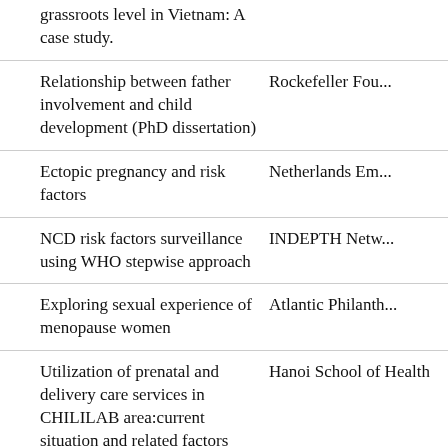| Study/Topic | Funder/Org |
| --- | --- |
| grassroots level in Vietnam: A case study. |  |
| Relationship between father involvement and child development (PhD dissertation) | Rockefeller Fou... |
| Ectopic pregnancy and risk factors | Netherlands Em... |
| NCD risk factors surveillance using WHO stepwise approach | INDEPTH Netw... |
| Exploring sexual experience of menopause women | Atlantic Philanth... |
| Utilization of prenatal and delivery care services in CHILILAB area:current situation and related factors | Hanoi School of Health |
| Study on household health service utilization | China Medical B... |
| KAP of adults on tobacco and results... | Atlantic Philanth... |